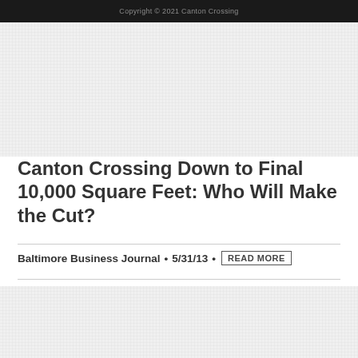Copyright © 2021 Canton Crossing
[Figure (photo): Placeholder image block at top of page]
Canton Crossing Down to Final 10,000 Square Feet: Who Will Make the Cut?
Baltimore Business Journal • 5/31/13 • READ MORE
[Figure (photo): Placeholder image block at bottom of page]